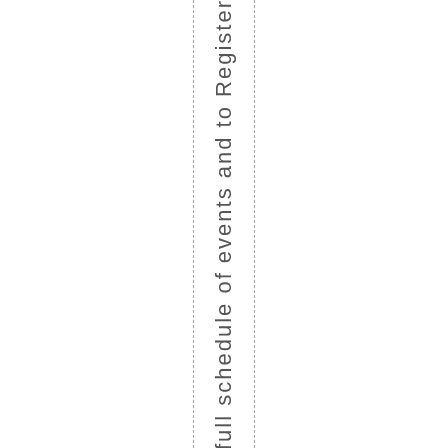full schedule of events and to Register